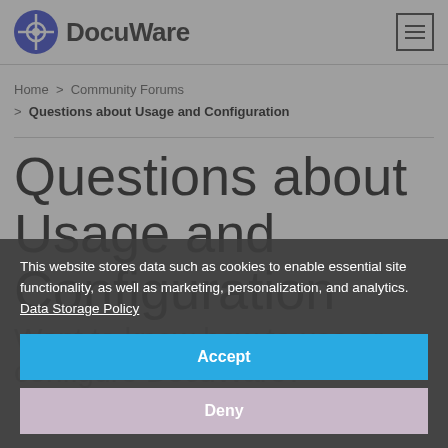DocuWare
Home > Community Forums > Questions about Usage and Configuration
Questions about Usage and Configuration
Want to know how to use or configure DocuWare?
This website stores data such as cookies to enable essential site functionality, as well as marketing, personalization, and analytics. Data Storage Policy
Accept
Deny